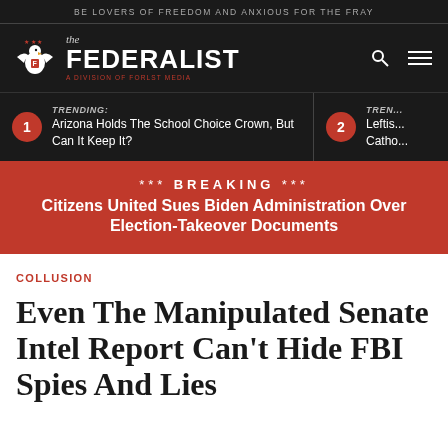BE LOVERS OF FREEDOM AND ANXIOUS FOR THE FRAY
[Figure (logo): The Federalist logo with eagle emblem and tagline 'a division of FORLST MEDIA']
TRENDING: Arizona Holds The School Choice Crown, But Can It Keep It?
TRENDING: Leftis... Catho...
*** BREAKING *** Citizens United Sues Biden Administration Over Election-Takeover Documents
COLLUSION
Even The Manipulated Senate Intel Report Can't Hide FBI Spies And Lies